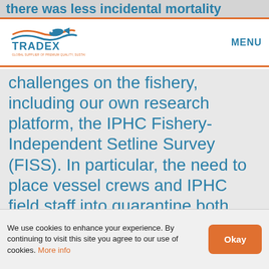there was less incidental mortality
[Figure (logo): Tradex logo with fish and wave graphic, text: TRADEX GLOBAL SUPPLIER OF PREMIUM QUALITY, SUSTAINABLE SEAFOOD]
MENU
challenges on the fishery, including our own research platform, the IPHC Fishery-Independent Setline Survey (FISS). In particular, the need to place vessel crews and IPHC field staff into quarantine both before and after each trip added
We use cookies to enhance your experience. By continuing to visit this site you agree to our use of cookies. More info